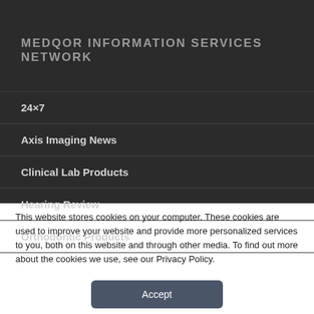MEDQOR INFORMATION SERVICES NETWORK
24×7
Axis Imaging News
Clinical Lab Products
Hearing Review
Orthodontic Products
This website stores cookies on your computer. These cookies are used to improve your website and provide more personalized services to you, both on this website and through other media. To find out more about the cookies we use, see our Privacy Policy.
Accept